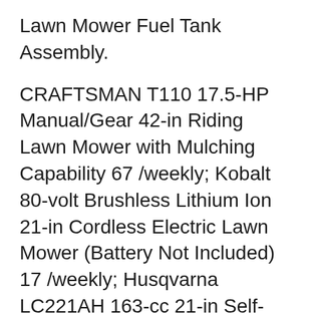Lawn Mower Fuel Tank Assembly.
CRAFTSMAN T110 17.5-HP Manual/Gear 42-in Riding Lawn Mower with Mulching Capability 67 /weekly; Kobalt 80-volt Brushless Lithium Ion 21-in Cordless Electric Lawn Mower (Battery Not Included) 17 /weekly; Husqvarna LC221AH 163-cc 21-in Self-propelled Gas Lawn Mower with Briggs & Stratton Engine 11 inch Wheels 21 /weekly Apr 23, 2019B B· In this video we are looking for a Lawn Mower. First time using the Craftsman lawn Mower T110 https://youtu.be/Qa4NPgYBmHw I messed up your lawn https://yout...
Craftsman 13.5 Hp Riding Mower.